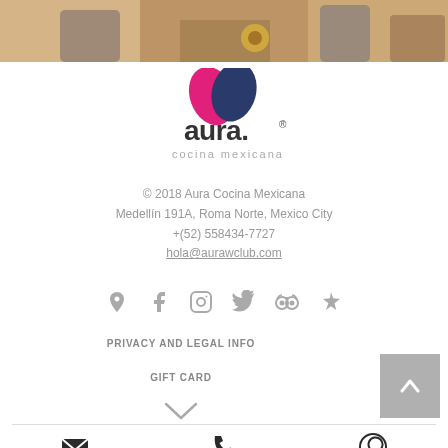[Figure (photo): Photo strip at top showing children/people sitting together with a sunflower, cropped to show torsos and hands.]
[Figure (logo): Aura Cocina Mexicana logo — pink and dark teal overlapping leaf shapes above the wordmark 'aura.' in dark gray, with 'cocina mexicana' below in lighter gray.]
© 2018 Aura Cocina Mexicana
Medellín 191A, Roma Norte, Mexico City
+(52) 558434-7727
hola@aurawclub.com
[Figure (infographic): Row of six social media icons in gray: map pin, Facebook, Instagram, Twitter, TripAdvisor, Yelp.]
PRIVACY AND LEGAL INFO
GIFT CARD
[Figure (other): Back-to-top button: gray square with white upward chevron, in the bottom-right area.]
[Figure (other): Upward chevron caret symbol centered below GIFT CARD text.]
[Figure (infographic): Bottom navigation bar with three icons: email/envelope, phone, WhatsApp.]